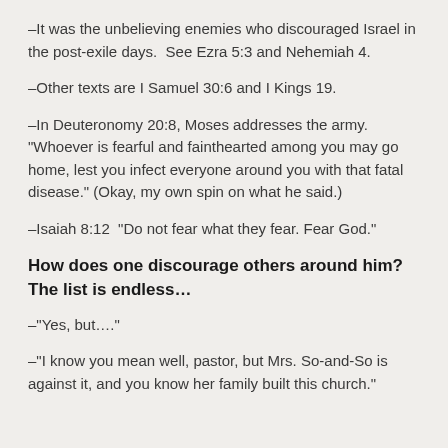–It was the unbelieving enemies who discouraged Israel in the post-exile days.  See Ezra 5:3 and Nehemiah 4.
–Other texts are I Samuel 30:6 and I Kings 19.
–In Deuteronomy 20:8, Moses addresses the army. "Whoever is fearful and fainthearted among you may go home, lest you infect everyone around you with that fatal disease." (Okay, my own spin on what he said.)
–Isaiah 8:12  "Do not fear what they fear. Fear God."
How does one discourage others around him?  The list is endless…
–"Yes, but…."
–"I know you mean well, pastor, but Mrs. So-and-So is against it, and you know her family built this church."